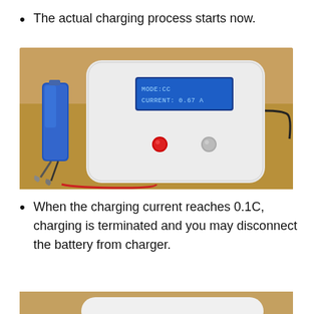The actual charging process starts now.
[Figure (photo): Photo of a battery charger device in a white plastic enclosure with an LCD screen displaying 'MODE:CC CURRENT: 0.67 A', two buttons, a blue cylindrical battery connected on the left with alligator clips, and a black wire on the right. Device is sitting on a wooden surface.]
When the charging current reaches 0.1C, charging is terminated and you may disconnect the battery from charger.
[Figure (photo): Partial photo of the same or similar white battery charger device, cropped at the bottom of the page.]